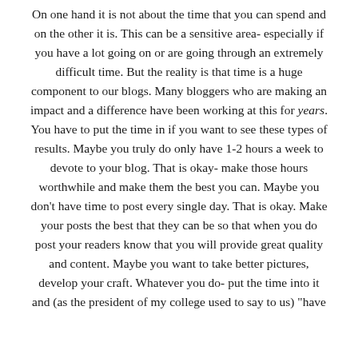On one hand it is not about the time that you can spend and on the other it is. This can be a sensitive area- especially if you have a lot going on or are going through an extremely difficult time. But the reality is that time is a huge component to our blogs. Many bloggers who are making an impact and a difference have been working at this for years. You have to put the time in if you want to see these types of results. Maybe you truly do only have 1-2 hours a week to devote to your blog. That is okay- make those hours worthwhile and make them the best you can. Maybe you don't have time to post every single day. That is okay. Make your posts the best that they can be so that when you do post your readers know that you will provide great quality and content. Maybe you want to take better pictures, develop your craft. Whatever you do- put the time into it and (as the president of my college used to say to us) "have